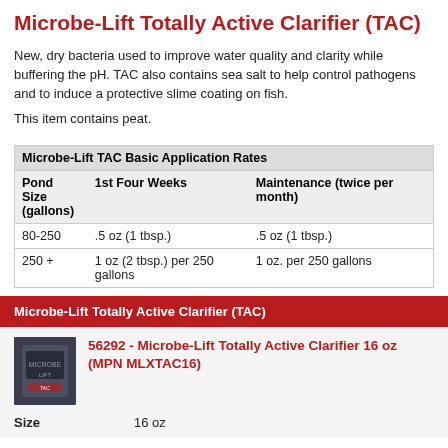Microbe-Lift Totally Active Clarifier (TAC)
New, dry bacteria used to improve water quality and clarity while buffering the pH. TAC also contains sea salt to help control pathogens and to induce a protective slime coating on fish.
This item contains peat.
| Pond Size (gallons) | 1st Four Weeks | Maintenance (twice per month) |
| --- | --- | --- |
| 80-250 | .5 oz (1 tbsp.) | .5 oz (1 tbsp.) |
| 250 + | 1 oz (2 tbsp.) per 250 gallons | 1 oz. per 250 gallons |
Microbe-Lift Totally Active Clarifier (TAC)
56292 - Microbe-Lift Totally Active Clarifier 16 oz (MPN MLXTAC16)
Size   16 oz